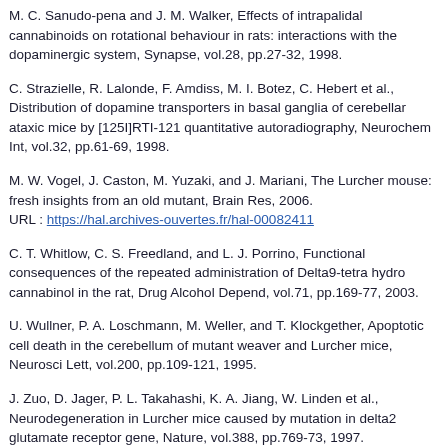M. C. Sanudo-pena and J. M. Walker, Effects of intrapalidal cannabinoids on rotational behaviour in rats: interactions with the dopaminergic system, Synapse, vol.28, pp.27-32, 1998.
C. Strazielle, R. Lalonde, F. Amdiss, M. I. Botez, C. Hebert et al., Distribution of dopamine transporters in basal ganglia of cerebellar ataxic mice by [125I]RTI-121 quantitative autoradiography, Neurochem Int, vol.32, pp.61-69, 1998.
M. W. Vogel, J. Caston, M. Yuzaki, and J. Mariani, The Lurcher mouse: fresh insights from an old mutant, Brain Res, 2006. URL : https://hal.archives-ouvertes.fr/hal-00082411
C. T. Whitlow, C. S. Freedland, and L. J. Porrino, Functional consequences of the repeated administration of Delta9-tetra hydro cannabinol in the rat, Drug Alcohol Depend, vol.71, pp.169-77, 2003.
U. Wullner, P. A. Loschmann, M. Weller, and T. Klockgether, Apoptotic cell death in the cerebellum of mutant weaver and Lurcher mice, Neurosci Lett, vol.200, pp.109-121, 1995.
J. Zuo, D. Jager, P. L. Takahashi, K. A. Jiang, W. Linden et al., Neurodegeneration in Lurcher mice caused by mutation in delta2 glutamate receptor gene, Nature, vol.388, pp.769-73, 1997.